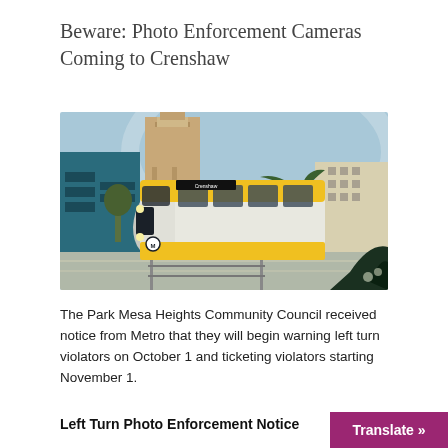Beware: Photo Enforcement Cameras Coming to Crenshaw
[Figure (illustration): Stylized vintage poster-style illustration of a yellow Metro light rail train (Crenshaw line) traveling along a street with Art Deco buildings and palm trees in the background under a blue sky.]
The Park Mesa Heights Community Council received notice from Metro that they will begin warning left turn violators on October 1 and ticketing violators starting November 1.
Left Turn Photo Enforcement Notice
Translate »